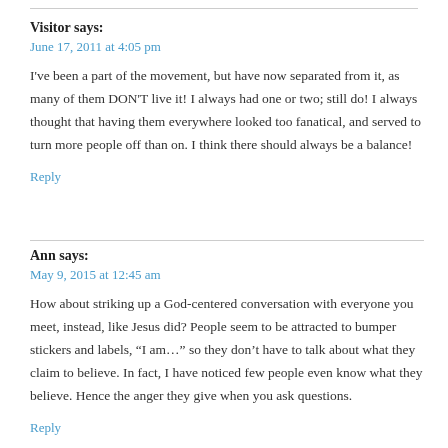Visitor says:
June 17, 2011 at 4:05 pm
I've been a part of the movement, but have now separated from it, as many of them DON'T live it! I always had one or two; still do! I always thought that having them everywhere looked too fanatical, and served to turn more people off than on. I think there should always be a balance!
Reply
Ann says:
May 9, 2015 at 12:45 am
How about striking up a God-centered conversation with everyone you meet, instead, like Jesus did? People seem to be attracted to bumper stickers and labels, “I am…” so they don’t have to talk about what they claim to believe. In fact, I have noticed few people even know what they believe. Hence the anger they give when you ask questions.
Reply